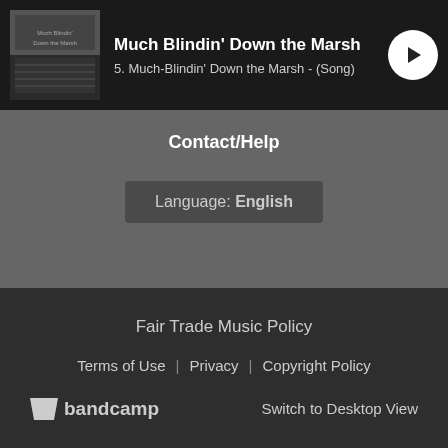Much Blindin' Down the Marsh / 5. Much-Blindin' Down the Marsh - (Song)
Contact/Help
Language: English
Fair Trade Music Policy
Terms of Use | Privacy | Copyright Policy
bandcamp / Switch to Desktop View